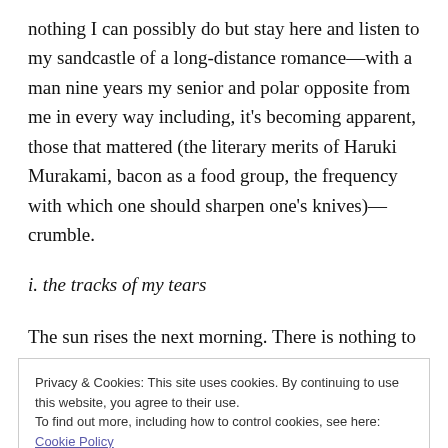nothing I can possibly do but stay here and listen to my sandcastle of a long-distance romance—with a man nine years my senior and polar opposite from me in every way including, it's becoming apparent, those that mattered (the literary merits of Haruki Murakami, bacon as a food group, the frequency with which one should sharpen one's knives)—crumble.
i. the tracks of my tears
The sun rises the next morning. There is nothing to do but shower and venture back into the world of the
system years ago, during my third, wasted semester of
[Figure (screenshot): Cookie consent banner overlay with text: 'Privacy & Cookies: This site uses cookies. By continuing to use this website, you agree to their use. To find out more, including how to control cookies, see here: Cookie Policy' and a 'Close and accept' button.]